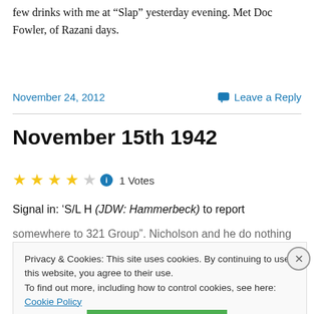few drinks with me at “Slap” yesterday evening. Met Doc Fowler, of Razani days.
November 24, 2012
Leave a Reply
November 15th 1942
4 out of 5 stars, 1 Votes
Signal in: ‘S/L H (JDW: Hammerbeck) to report
Privacy & Cookies: This site uses cookies. By continuing to use this website, you agree to their use. To find out more, including how to control cookies, see here: Cookie Policy
Close and accept